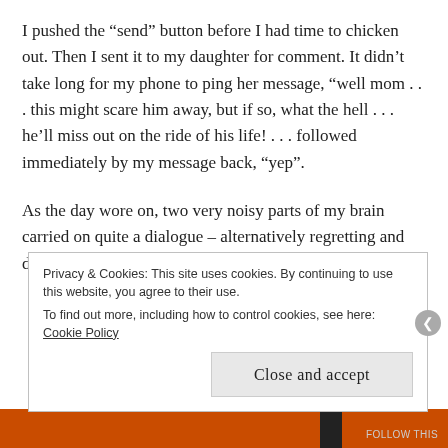I pushed the “send” button before I had time to chicken out. Then I sent it to my daughter for comment. It didn’t take long for my phone to ping her message, “well mom . . . this might scare him away, but if so, what the hell . . . he’ll miss out on the ride of his life! . . . followed immediately by my message back, “yep”.
As the day wore on, two very noisy parts of my brain carried on quite a dialogue – alternatively regretting and defending my impulsive action. I was prepared
Privacy & Cookies: This site uses cookies. By continuing to use this website, you agree to their use.
To find out more, including how to control cookies, see here: Cookie Policy